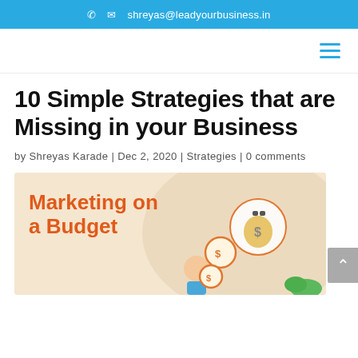☎ ✉ shreyas@leadyourbusiness.in
10 Simple Strategies that are Missing in your Business
by Shreyas Karade | Dec 2, 2020 | Strategies | 0 comments
[Figure (illustration): Marketing on a Budget infographic illustration showing a person thinking about money bags and dollar coins on a beige background]